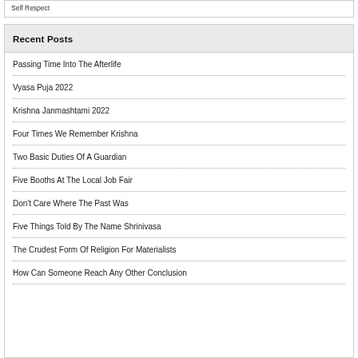Self Respect
Recent Posts
Passing Time Into The Afterlife
Vyasa Puja 2022
Krishna Janmashtami 2022
Four Times We Remember Krishna
Two Basic Duties Of A Guardian
Five Booths At The Local Job Fair
Don't Care Where The Past Was
Five Things Told By The Name Shrinivasa
The Crudest Form Of Religion For Materialists
How Can Someone Reach Any Other Conclusion